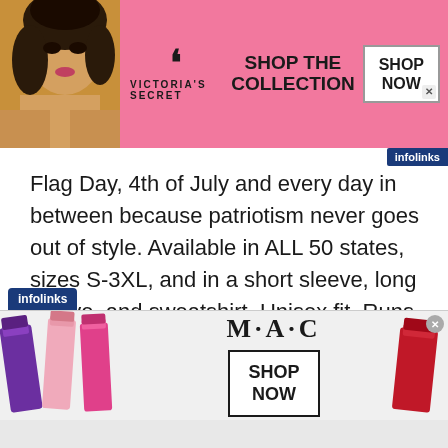[Figure (photo): Victoria's Secret advertisement banner with a model on the left, VS logo and 'SHOP THE COLLECTION' text in the center, and a 'SHOP NOW' button on the right, pink background]
Flag Day, 4th of July and every day in between because patriotism never goes out of style. Available in ALL 50 states, sizes S-3XL, and in a short sleeve, long sleeve, and sweatshirt. Unisex fit. Runs true to size. *Colors may differ slightly depending on viewing device.
[Figure (photo): MAC cosmetics advertisement banner with lipsticks on both sides, MAC logo in the center, and a 'SHOP NOW' button]